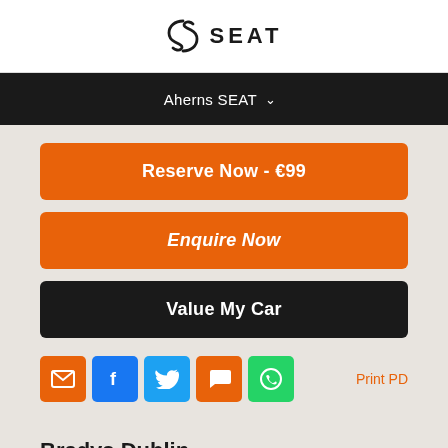[Figure (logo): SEAT brand logo with stylized S emblem and SEAT wordmark]
Aherns SEAT ∨
Reserve Now - €99
Enquire Now
Value My Car
[Figure (infographic): Social share icons: email (orange), Facebook (blue), Twitter (light blue), chat (orange), WhatsApp (green)]
Print PD
Bradys Dublin
Old Navan Rd, Castleknock, Co. Dublin, D15V440